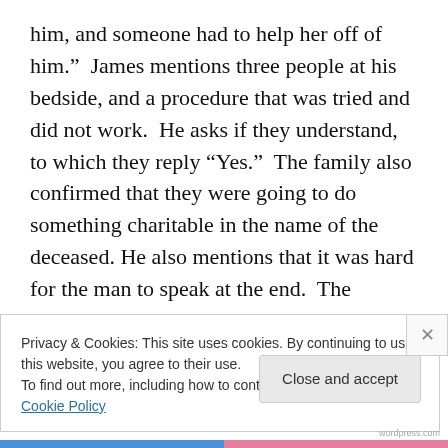him, and someone had to help her off of him.”  James mentions three people at his bedside, and a procedure that was tried and did not work.  He asks if they understand, to which they reply “Yes.”  The family also confirmed that they were going to do something charitable in the name of the deceased. He also mentions that it was hard for the man to speak at the end.  The woman was agog at this, crying, and exclaimed it was true.
Advertisements
[Figure (other): Advertisement for WordPress: Professionally designed sites in less than a week, with WordPress logo]
Privacy & Cookies: This site uses cookies. By continuing to use this website, you agree to their use.
To find out more, including how to control cookies, see here: Cookie Policy
Close and accept